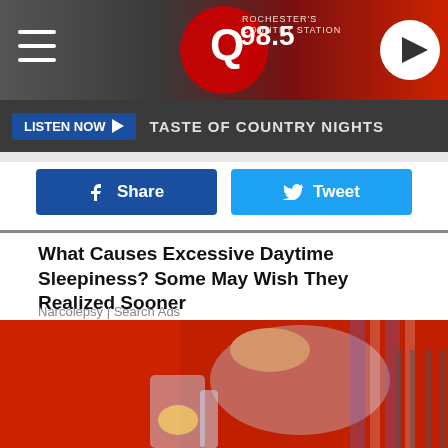Q 98.5 Radio Station Header
LISTEN NOW ▶  TASTE OF COUNTRY NIGHTS
f  Share
🐦  Tweet
What Causes Excessive Daytime Sleepiness? Some May Wish They Realized Sooner
Narcolepsy | Search Ads
[Figure (photo): Person in red top pouring water with lemon from a glass pitcher into a tall glass with ice and lemon slice]